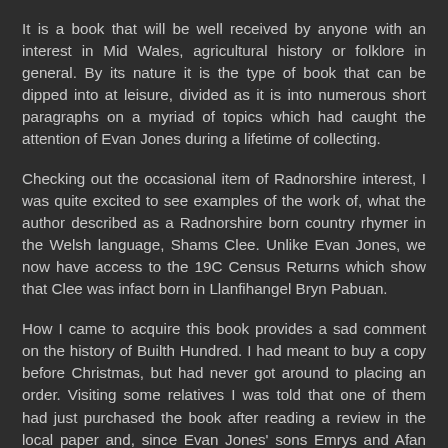It is a book that will be well received by anyone with an interest in Mid Wales, agricultural history or folklore in general. By its nature it is the type of book that can be dipped into at leisure, divided as it is into numerous short paragraphs on a myriad of topics which had caught the attention of Evan Jones during a lifetime of collecting.
Checking out the occasional item of Radnorshire interest, I was quite excited to see examples of the work of, what the author described as a Radnorshire born country rhymer in the Welsh language, Shams Clee. Unlike Evan Jones, we now have access to the 19C Census Returns which show that Clee was infact born in Llanfihangel Bryn Pabuan.
How I came to acquire this book provides a sad comment on the history of Builth Hundred. I had meant to buy a copy before Christmas, but had never got around to placing an order. Visiting some relatives I was told that one of them had just purchased the book after reading a review in the local paper and, since Evan Jones' sons Emrys and Afan had been regular visitors to her parents during her youth, she had hurried out to place an order. Unfortunately the book